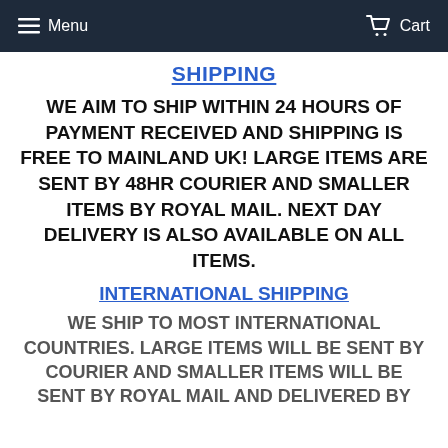Menu   Cart
SHIPPING
WE AIM TO SHIP WITHIN 24 HOURS OF PAYMENT RECEIVED AND SHIPPING IS FREE TO MAINLAND UK! LARGE ITEMS ARE SENT BY 48HR COURIER AND SMALLER ITEMS BY ROYAL MAIL. NEXT DAY DELIVERY IS ALSO AVAILABLE ON ALL ITEMS.
INTERNATIONAL SHIPPING
WE SHIP TO MOST INTERNATIONAL COUNTRIES. LARGE ITEMS WILL BE SENT BY COURIER AND SMALLER ITEMS WILL BE SENT BY ROYAL MAIL AND DELIVERED BY